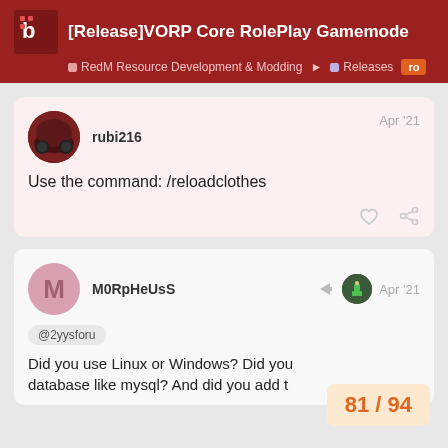[Release]VORP Core RolePlay Gamemode | RedM Resource Development & Modding > Releases > ro
rubi216 | Apr '21
Use the command: /reloadclothes
M0RpHeUsS | Apr '21
@2yysforu
Did you use Linux or Windows? Did you database like mysql? And did you add t
81 / 94